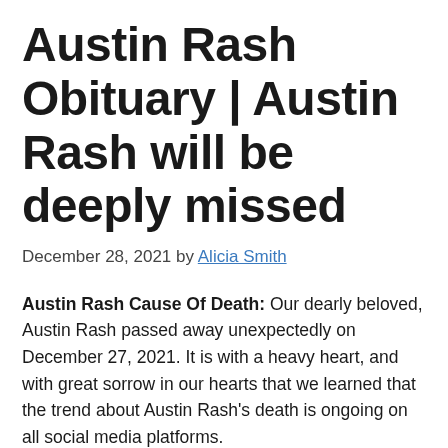Austin Rash Obituary | Austin Rash will be deeply missed
December 28, 2021 by Alicia Smith
Austin Rash Cause Of Death: Our dearly beloved, Austin Rash passed away unexpectedly on December 27, 2021. It is with a heavy heart, and with great sorrow in our hearts that we learned that the trend about Austin Rash's death is ongoing on all social media platforms.